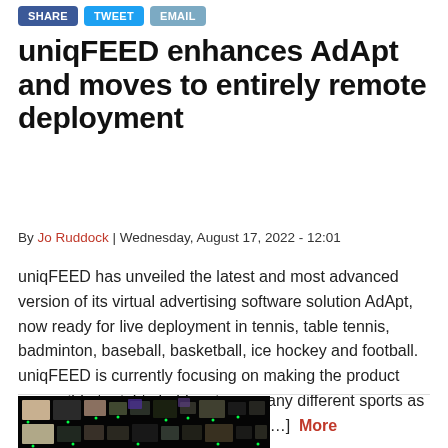[Figure (other): Social share buttons: Share (blue), Tweet (light blue), Email (grey-blue)]
uniqFEED enhances AdApt and moves to entirely remote deployment
By Jo Ruddock | Wednesday, August 17, 2022 - 12:01
uniqFEED has unveiled the latest and most advanced version of its virtual advertising software solution AdApt, now ready for live deployment in tennis, table tennis, badminton, baseball, basketball, ice hockey and football. uniqFEED is currently focusing on making the product accessible to rights holders in as many different sports as possible. According to CEO Roger […] More
[Figure (photo): Broadcast monitor wall showing multiple video feeds and displays in a dark control room environment with green indicator lights]